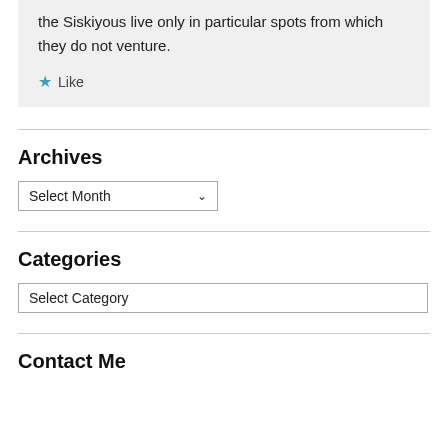the Siskiyous live only in particular spots from which they do not venture.
Like
Archives
Select Month
Categories
Select Category
Contact Me